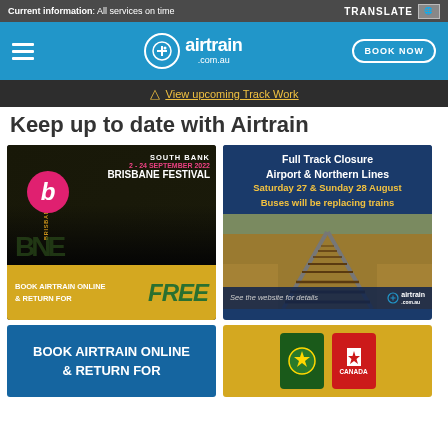Current information: All services on time
[Figure (screenshot): Airtrain.com.au website navigation bar with hamburger menu, airtrain logo, and BOOK NOW button on blue background]
View upcoming Track Work
Keep up to date with Airtrain
[Figure (infographic): Brisbane Festival promotional card: South Bank, 2–24 September 2022, Brisbane Festival. Book Airtrain online & return for FREE.]
[Figure (infographic): Full Track Closure Airport & Northern Lines. Saturday 27 & Sunday 28 August. Buses will be replacing trains. See the website for details. airtrain.com.au]
[Figure (infographic): Book Airtrain Online & Return For — blue promotional card]
[Figure (infographic): Socceroos vs Canada promotional card on yellow background with soccer badge and Canada badge]